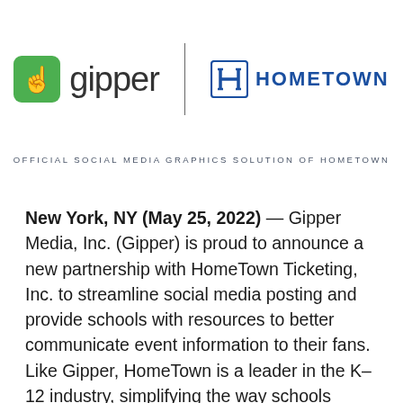[Figure (logo): Gipper logo (green rounded square with pointing finger icon) and HomeTown Ticketing logo side by side separated by a vertical line]
OFFICIAL SOCIAL MEDIA GRAPHICS SOLUTION OF HOMETOWN
New York, NY (May 25, 2022) — Gipper Media, Inc. (Gipper) is proud to announce a new partnership with HomeTown Ticketing, Inc. to streamline social media posting and provide schools with resources to better communicate event information to their fans. Like Gipper, HomeTown is a leader in the K–12 industry, simplifying the way schools manage ticket…